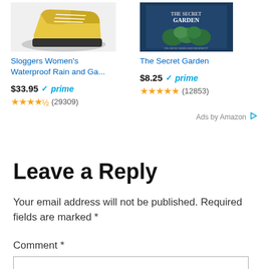[Figure (photo): Sloggers Women's Waterproof Rain and Garden boot product image]
[Figure (photo): The Secret Garden book cover]
Sloggers Women's Waterproof Rain and Ga...
The Secret Garden
$33.95 ✓prime ★★★★½ (29309)
$8.25 ✓prime ★★★★★ (12853)
Ads by Amazon ▷
Leave a Reply
Your email address will not be published. Required fields are marked *
Comment *